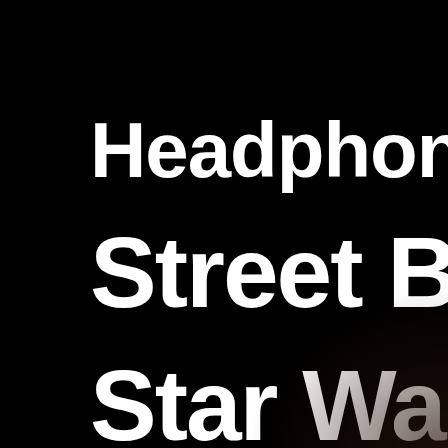Headphone M Street By Star Wars